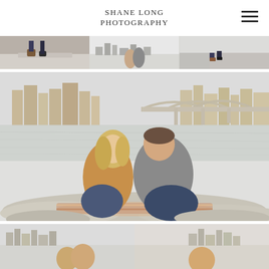SHANE LONG PHOTOGRAPHY
[Figure (photo): Top strip of three engagement photos showing couple's feet on a ledge, couple standing with city backdrop, and partial photo]
[Figure (photo): Large engagement photo of smiling couple sitting on rocks by a river with a city skyline and arched bridge in the background. Woman in tan jacket, man in gray shirt and jeans.]
[Figure (photo): Bottom strip showing two partial engagement photos with city skyline backgrounds]